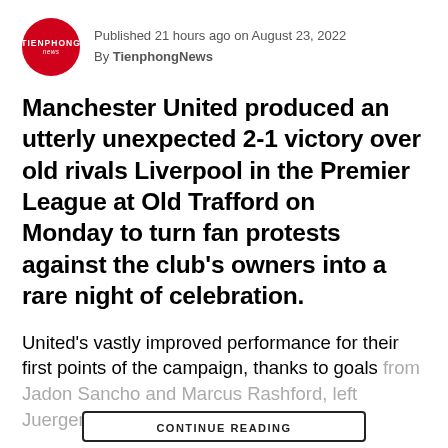Published 21 hours ago on August 23, 2022
By TienphongNews
Manchester United produced an utterly unexpected 2-1 victory over old rivals Liverpool in the Premier League at Old Trafford on Monday to turn fan protests against the club's owners into a rare night of celebration.
United's vastly improved performance for their first points of the campaign, thanks to goals from Jadon Sancho and Marcus Rashford, left Juergen Klopp's Liverpool without
CONTINUE READING